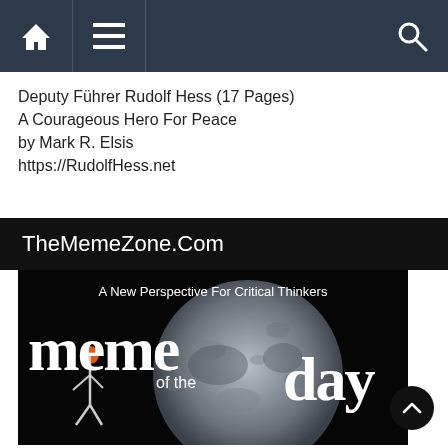Navigation bar with home icon, menu icon, and search icon
Deputy Führer Rudolf Hess (17 Pages)
A Courageous Hero For Peace
by Mark R. Elsis
https://RudolfHess.net
TheMemeZone.Com
[Figure (illustration): Meme of the day graphic with moon background, 'A New Perspective For Critical Thinkers' subtitle, and decorative text 'meme of the day' with a figure holding an orange orb.]